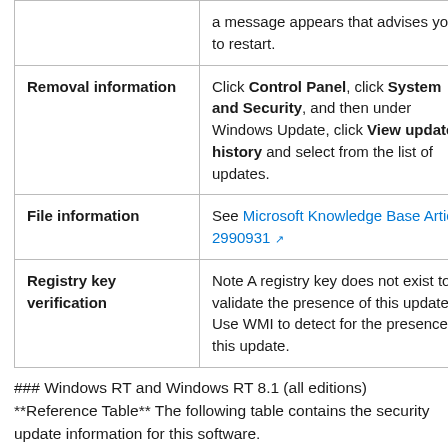|  |  |
| --- | --- |
|  | a message appears that advises you to restart. |
| Removal information | Click Control Panel, click System and Security, and then under Windows Update, click View update history and select from the list of updates. |
| File information | See Microsoft Knowledge Base Article 2990931 |
| Registry key verification | Note A registry key does not exist to validate the presence of this update. Use WMI to detect for the presence of this update. |
### Windows RT and Windows RT 8.1 (all editions) **Reference Table** The following table contains the security update information for this software.